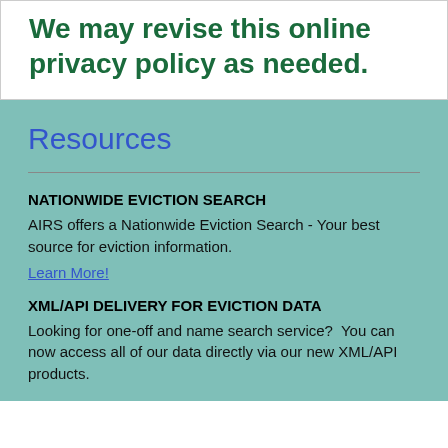We may revise this online privacy policy as needed.
Resources
NATIONWIDE EVICTION SEARCH
AIRS offers a Nationwide Eviction Search - Your best source for eviction information.
Learn More!
XML/API DELIVERY FOR EVICTION DATA
Looking for one-off and name search service?  You can now access all of our data directly via our new XML/API products.